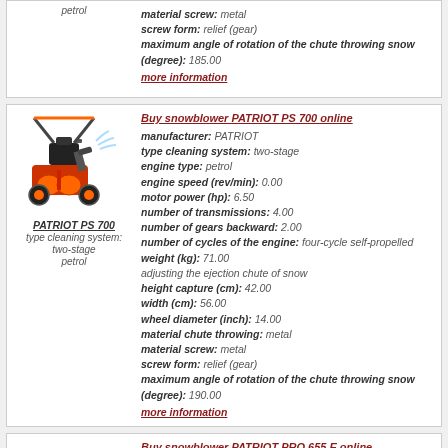petrol
material screw: metal
screw form: relief (gear)
maximum angle of rotation of the chute throwing snow (degree): 185.00
more information
[Figure (illustration): Snowblower machine PATRIOT PS 700 with orange and black body, two wheels, handle bar, and chute]
PATRIOT PS 700
type cleaning system: two-stage
petrol
Buy snowblower PATRIOT PS 700 online
manufacturer: PATRIOT
type cleaning system: two-stage
engine type: petrol
engine speed (rev/min): 0.00
motor power (hp): 6.50
number of transmissions: 4.00
number of gears backward: 2.00
number of cycles of the engine: four-cycle self-propelled
weight (kg): 71.00
adjusting the ejection chute of snow
height capture (cm): 42.00
width (cm): 56.00
wheel diameter (inch): 14.00
material chute throwing: metal
material screw: metal
screw form: relief (gear)
maximum angle of rotation of the chute throwing snow (degree): 190.00
more information
Buy snowblower PATRIOT PRO 655 E online
manufacturer: PATRIOT
type cleaning system: two-stage